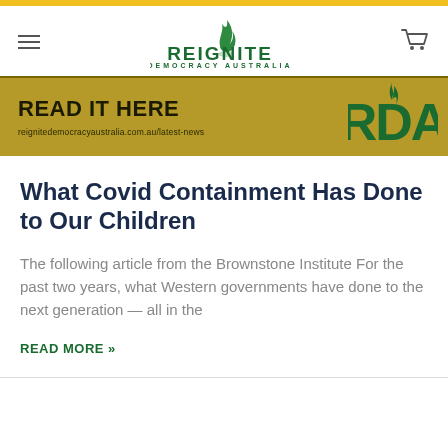Reignite Democracy Australia
[Figure (screenshot): Reignite Democracy Australia (RDA) website banner with gold background reading 'READ IT HERE' and website URL reignitedemocracyaustralia.com.au/latest-news, with large RDA logo on right]
What Covid Containment Has Done to Our Children
The following article from the Brownstone Institute For the past two years, what Western governments have done to the next generation — all in the
READ MORE »